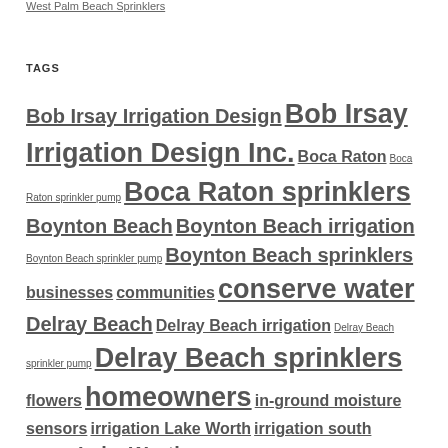West Palm Beach Sprinklers
TAGS
Bob Irsay Irrigation Design Bob Irsay Irrigation Design Inc. Boca Raton Boca Raton sprinkler pump Boca Raton sprinklers Boynton Beach Boynton Beach irrigation Boynton Beach sprinkler pump Boynton Beach sprinklers businesses communities conserve water Delray Beach Delray Beach irrigation Delray Beach sprinkler pump Delray Beach sprinklers flowers homeowners in-ground moisture sensors irrigation Lake Worth irrigation south florida Lake Worth Lake Worth irrigation design Lake Worth sprinkler pump Lake Worth sprinklers Lantana Manalapan Ocean Ridge Palm Beach County Palm Beach irrigation Palm Beach sprinklers